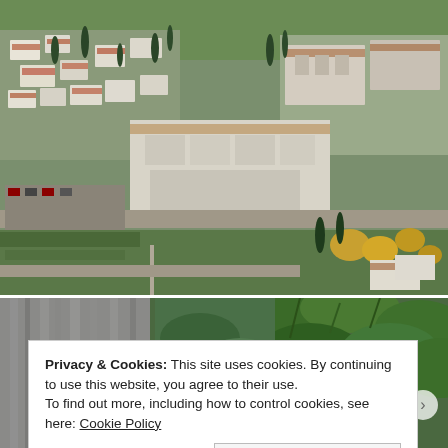[Figure (photo): Aerial view of a historic Spanish city (likely Granada/Alhambra area) with white buildings, terracotta rooftops, cypress trees, autumn foliage, and lush greenery.]
[Figure (photo): Partial view of a waterfall or water feature with green tropical leaves in foreground, partially obscured by cookie consent banner.]
Privacy & Cookies: This site uses cookies. By continuing to use this website, you agree to their use.
To find out more, including how to control cookies, see here: Cookie Policy
Close and accept